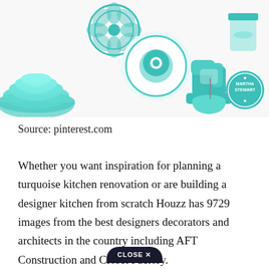[Figure (photo): Collage of turquoise/teal kitchen items: stacked mixing bowls, a decorative circular item, a salad spinner, a KitchenAid stand mixer, a glass jar, and a Martha Stewart branded circular logo. All items are in shades of teal/turquoise.]
Source: pinterest.com
Whether you want inspiration for planning a turquoise kitchen renovation or are building a designer kitchen from scratch Houzz has 9729 images from the best designers decorators and architects in the country including AFT Construction and Closet Factory. Ca[close button overlaid]on as Wed, Aug 18